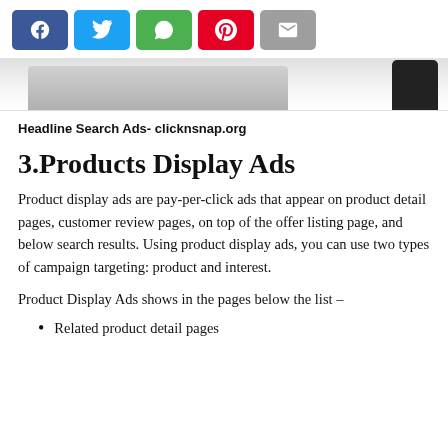[Figure (screenshot): Social sharing buttons: Facebook (blue), Twitter (light blue), WhatsApp (green), Pinterest (red), Email (grey)]
[Figure (photo): Partial view of a laptop and a smartphone device at the bottom of the image]
Headline Search Ads- clicknsnap.org
3.Products Display Ads
Product display ads are pay-per-click ads that appear on product detail pages, customer review pages, on top of the offer listing page, and below search results. Using product display ads, you can use two types of campaign targeting: product and interest.
Product Display Ads shows in the pages below the list –
Related product detail pages